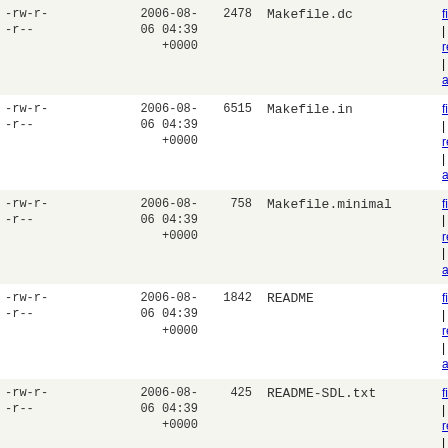| permissions | date | size | name | links |
| --- | --- | --- | --- | --- |
| -rw-r--r-- | 2006-08-06 04:39 +0000 | 2478 | Makefile.dc | file | revisions | annotate |
| -rw-r--r-- | 2006-08-06 04:39 +0000 | 6515 | Makefile.in | file | revisions | annotate |
| -rw-r--r-- | 2006-08-06 04:39 +0000 | 758 | Makefile.minimal | file | revisions | annotate |
| -rw-r--r-- | 2006-08-06 04:39 +0000 | 1842 | README | file | revisions | annotate |
| -rw-r--r-- | 2006-08-06 04:39 +0000 | 425 | README-SDL.txt | file | revisions | annotate |
| -rw-r--r-- | 2006-08-06 04:39 +0000 | 1592 | README.AmigaOS | file | revisions | annotate |
| -rw-r--r-- | 2006-08-06 04:39 +0000 | 369 | README.BeOS | file | revisions | annotate |
| -rw-r--r-- | 2006-08-06 04:39 +0000 | 125 | README.CVS | file | revisions | annotate |
| -rw-r--r-- | 2006-08-06 04:39 +0000 | 639 | README.DC | file | revisions | annotate |
| -rw-r--r-- | 2006-08-06 04:39 +0000 | 2724 | README.Epoc | file | revisions |